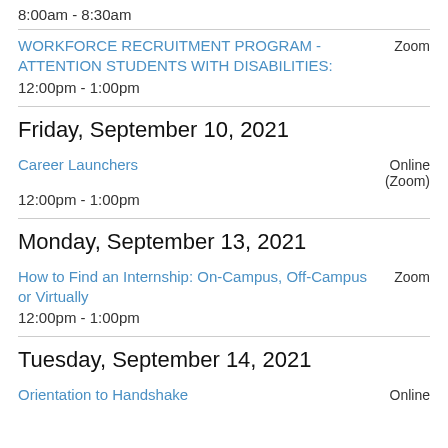8:00am - 8:30am
WORKFORCE RECRUITMENT PROGRAM - ATTENTION STUDENTS WITH DISABILITIES:
12:00pm - 1:00pm
Zoom
Friday, September 10, 2021
Career Launchers
12:00pm - 1:00pm
Online (Zoom)
Monday, September 13, 2021
How to Find an Internship: On-Campus, Off-Campus or Virtually
12:00pm - 1:00pm
Zoom
Tuesday, September 14, 2021
Orientation to Handshake
Online